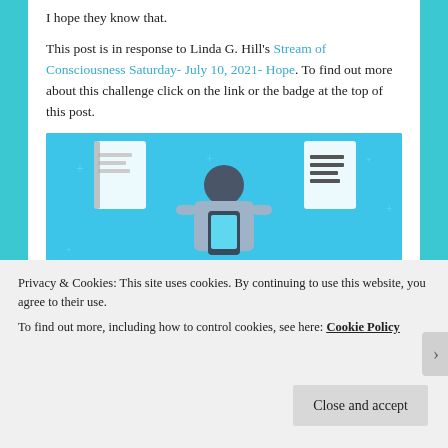I hope they know that.
This post is in response to Linda G. Hill's Stream of Consciousness Saturday- July 10, 2021- Hope. To find out more about this challenge click on the link or the badge at the top of this post.
[Figure (illustration): Day One journaling app advertisement on a blue background. Shows an illustrated person holding a phone, with notebook and document icons. Text reads DAY ONE - The only journaling app you'll ever need.]
Privacy & Cookies: This site uses cookies. By continuing to use this website, you agree to their use.
To find out more, including how to control cookies, see here: Cookie Policy
Close and accept